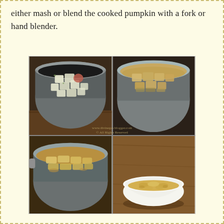either mash or blend the cooked pumpkin with a fork or hand blender.
[Figure (photo): A 2x2 grid of cooking photos showing pumpkin/squash being cooked: top-left shows raw diced pumpkin in a metal pot, top-right shows cooking diced pumpkin in a metal pot with liquid, bottom-left shows fully cooked soft pumpkin pieces in liquid in a metal pot, bottom-right shows cooked and slightly mashed pumpkin in a white bowl. A watermark reads 'www.divineges blogger.com © All Rights Reserved'.]